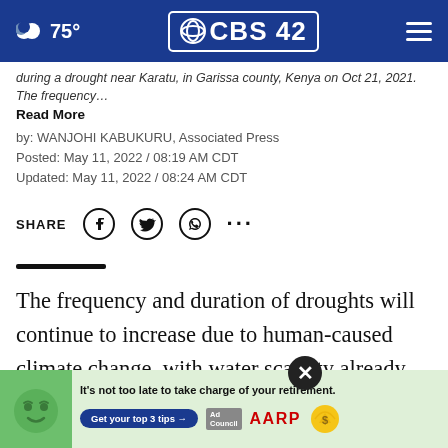75° CBS 42
during a drought near Karatu, in Garissa county, Kenya on Oct 21, 2021. The frequency… Read More
by: WANJOHI KABUKURU, Associated Press
Posted: May 11, 2022 / 08:19 AM CDT
Updated: May 11, 2022 / 08:24 AM CDT
SHARE [social icons]
The frequency and duration of droughts will continue to increase due to human-caused climate change, with water scarcity already affecting billions of people across the world, the United Nations warned in a report…
[Figure (illustration): AARP advertisement banner with green cartoon face, tagline 'It's not too late to take charge of your retirement. Get your top 3 tips', Ad Council badge, AARP logo, and sun coin icon.]